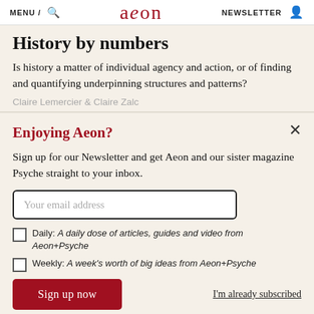MENU / 🔍  aeon  NEWSLETTER 👤
History by numbers
Is history a matter of individual agency and action, or of finding and quantifying underpinning structures and patterns?
Claire Lemercier & Claire Zalc
Enjoying Aeon?
Sign up for our Newsletter and get Aeon and our sister magazine Psyche straight to your inbox.
Your email address
Daily: A daily dose of articles, guides and video from Aeon+Psyche
Weekly: A week's worth of big ideas from Aeon+Psyche
Sign up now
I'm already subscribed
Privacy policy